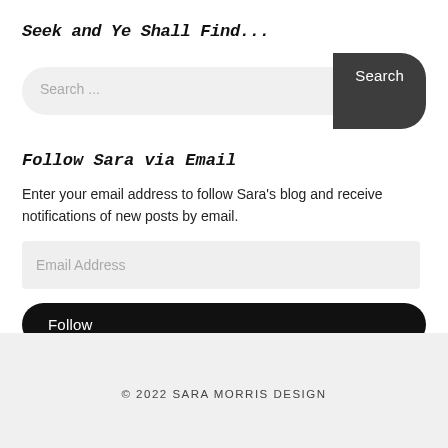Seek and Ye Shall Find...
[Figure (screenshot): Search input bar with placeholder text 'Search ...' and a dark rounded 'Search' button on the right]
Follow Sara via Email
Enter your email address to follow Sara's blog and receive notifications of new posts by email.
[Figure (screenshot): Email address input field with placeholder 'Email Address' and a black rounded 'Follow' button below]
© 2022 SARA MORRIS DESIGN